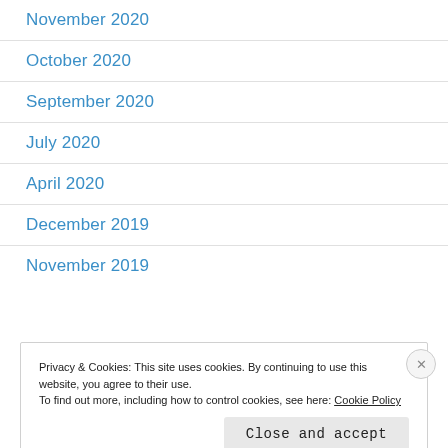November 2020
October 2020
September 2020
July 2020
April 2020
December 2019
November 2019
Privacy & Cookies: This site uses cookies. By continuing to use this website, you agree to their use.
To find out more, including how to control cookies, see here: Cookie Policy
Close and accept